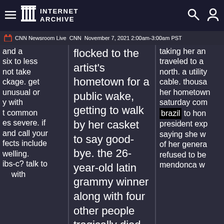INTERNET ARCHIVE
CNN Newsroom Live  CNN  November 7, 2021 2:00am-3:00am PST
six to less not take ckage. get unusual or y with t common es severe. if and call your fects include welling. ibs-c? talk to
flocked to the artist's hometown for a public wake, getting to walk by her casket to say good-bye. the 26-year-old latin grammy winner along with four other people tragically died in a plane crash
traveled to a north. a utility cable. thousa her hometown saturday com brazil to hon president exp saying she w of her genera refused to be mendonca w
CNN Newsroom Live
CNN November 7, 2021 2:00am-3:00am PST